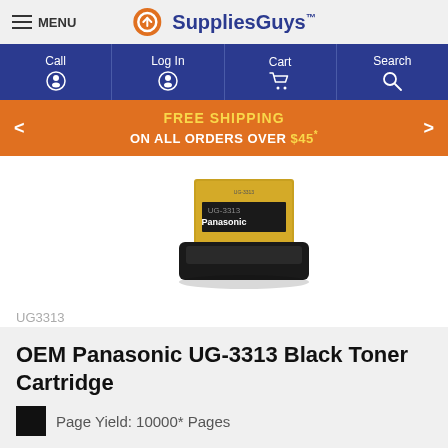MENU | SuppliesGuys
Call | Log In | Cart | Search
FREE SHIPPING ON ALL ORDERS OVER $45*
[Figure (photo): Panasonic UG-3313 toner cartridge product photo — black cartridge with yellow box labelled UG-3310 Panasonic]
UG3313
OEM Panasonic UG-3313 Black Toner Cartridge
Page Yield: 10000* Pages